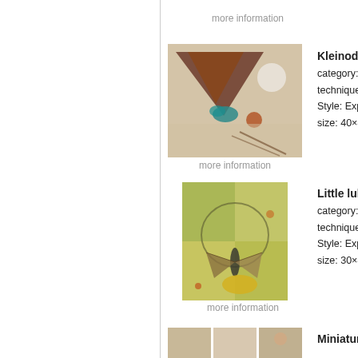more information
[Figure (photo): Painting titled Kleinod - expressionist mixed technique painting with brown, teal and white tones on textured background]
more information
Kleinod
category: Painting
technique: Mixing techni
Style: Expressionism
size: 40×40×2 cm
[Figure (photo): Painting titled Little lullaby - expressionist mixed technique painting featuring a butterfly on yellow-green background]
more information
Little lullaby
category: Painting
technique: Mixing techni
Style: Expressionism
size: 30×40×2 cm
[Figure (photo): Painting titled Miniaturen im Trio - partial view at bottom of page]
Miniaturen im Trio